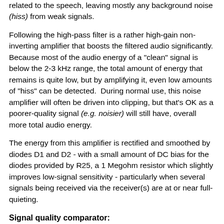related to the speech, leaving mostly any background noise (hiss) from weak signals.
Following the high-pass filter is a rather high-gain non-inverting amplifier that boosts the filtered audio significantly. Because most of the audio energy of a "clean" signal is below the 2-3 kHz range, the total amount of energy that remains is quite low, but by amplifying it, even low amounts of "hiss" can be detected.  During normal use, this noise amplifier will often be driven into clipping, but that's OK as a poorer-quality signal (e.g. noisier) will still have, overall more total audio energy.
The energy from this amplifier is rectified and smoothed by diodes D1 and D2 - with a small amount of DC bias for the diodes provided by R25, a 1 Megohm resistor which slightly improves low-signal sensitivity - particularly when several signals being received via the receiver(s) are at or near full-quieting.
Signal quality comparator:
At this point it's worth mentioning again that there are two